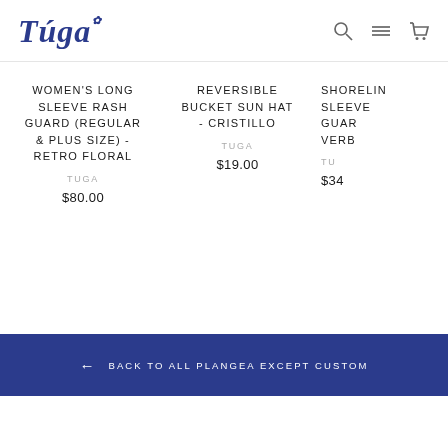Tuga — navigation header with search, menu, and cart icons
WOMEN'S LONG SLEEVE RASH GUARD (REGULAR & PLUS SIZE) - RETRO FLORAL
TUGA
$80.00
REVERSIBLE BUCKET SUN HAT - CRISTILLO
TUGA
$19.00
SHORELINE SLEEVE GUARD VERB...
TUGA
$34...
← BACK TO ALL PLANGEA EXCEPT CUSTOM